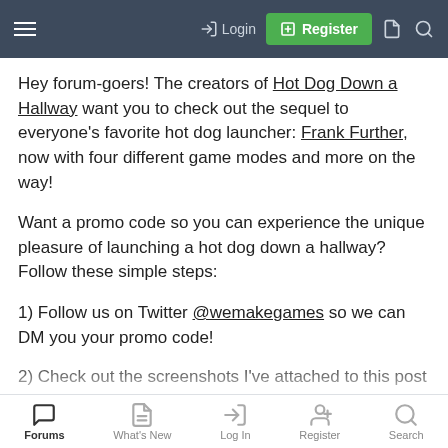Login | Register
Hey forum-goers! The creators of Hot Dog Down a Hallway want you to check out the sequel to everyone's favorite hot dog launcher: Frank Further, now with four different game modes and more on the way!
Want a promo code so you can experience the unique pleasure of launching a hot dog down a hallway? Follow these simple steps:
1) Follow us on Twitter @wemakegames so we can DM you your promo code!
2) Check out the screenshots I've attached to this post to get an idea of the kinds of hallways our little frank likes to fly down.
Forums | What's New | Log In | Register | Search